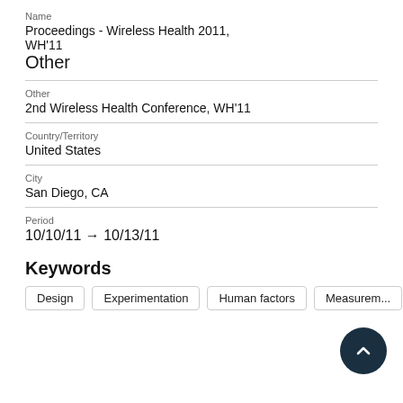Name
Proceedings - Wireless Health 2011, WH'11
Other
Other
2nd Wireless Health Conference, WH'11
Country/Territory
United States
City
San Diego, CA
Period
10/10/11 → 10/13/11
Keywords
Design
Experimentation
Human factors
Measurem...